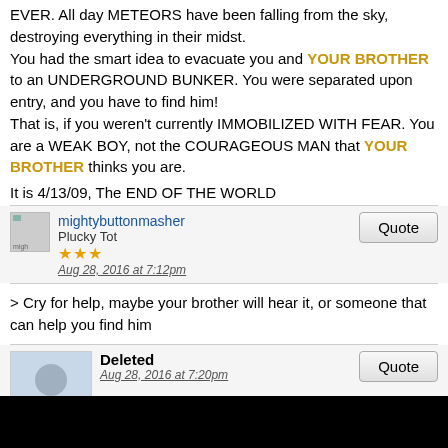EVER. All day METEORS have been falling from the sky, destroying everything in their midst.
You had the smart idea to evacuate you and YOUR BROTHER to an UNDERGROUND BUNKER. You were separated upon entry, and you have to find him!
That is, if you weren't currently IMMOBILIZED WITH FEAR. You are a WEAK BOY, not the COURAGEOUS MAN that YOUR BROTHER thinks you are.
It is 4/13/09, The END OF THE WORLD
mightybuttonmasher
Plucky Tot
★★★
Aug 28, 2016 at 7:12pm
> Cry for help, maybe your brother will hear it, or someone that can help you find him
Deleted
Aug 28, 2016 at 7:20pm
mightybuttonmasher said: